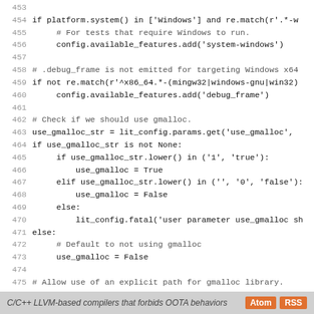[Figure (screenshot): Python source code snippet showing lines 453-481 with line numbers, including platform checks for Windows, debug_frame, gmalloc configuration, and gmalloc path settings.]
C/C++ LLVM-based compilers that forbids OOTA behaviors  Atom  RSS